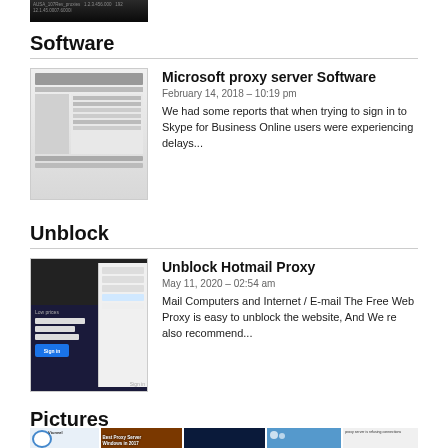[Figure (screenshot): Dark terminal/console screenshot thumbnail at top]
Software
[Figure (screenshot): Microsoft proxy server software settings screenshot thumbnail]
Microsoft proxy server Software
February 14, 2018 – 10:19 pm
We had some reports that when trying to sign in to Skype for Business Online users were experiencing delays...
Unblock
[Figure (screenshot): Unblock Hotmail Proxy screenshot showing sign-in page]
Unblock Hotmail Proxy
May 11, 2020 – 02:54 am
Mail Computers and Internet / E-mail The Free Web Proxy is easy to unblock the website, And We re also recommend...
Pictures
[Figure (photo): Grid of proxy-related images including Vtunnel, Best Proxy Server Windows 2017, network diagram, error screenshot, piracy image, and settings screenshot]